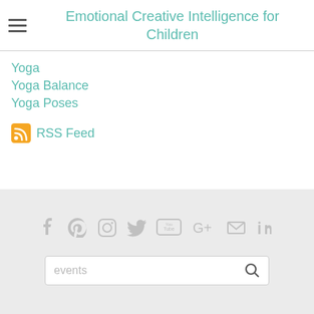Emotional Creative Intelligence for Children
Yoga
Yoga Balance
Yoga Poses
RSS Feed
[Figure (infographic): Social media icons row: Facebook, Pinterest, Instagram, Twitter, YouTube, Google+, Email, LinkedIn — all in light gray]
[Figure (other): Search box with placeholder text 'events' and a search magnifier icon]